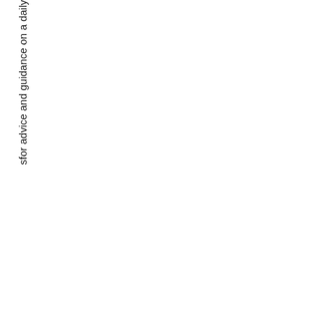sfor advice and guidance on a daily